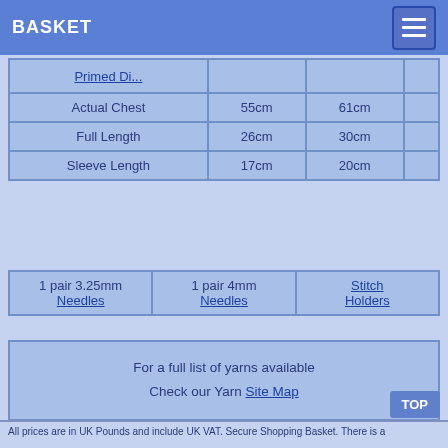BASKET
|  |  |  |  |
| --- | --- | --- | --- |
| Primed Di... |  |  |  |
| Actual Chest | 55cm | 61cm |  |
| Full Length | 26cm | 30cm |  |
| Sleeve Length | 17cm | 20cm |  |
| 1 pair 3.25mm Needles | 1 pair 4mm Needles | Stitch Holders |
| --- | --- | --- |
For a full list of yarns available
Check our Yarn Site Map
All prices are in UK Pounds and include UK VAT. Secure Shopping Basket. There is a